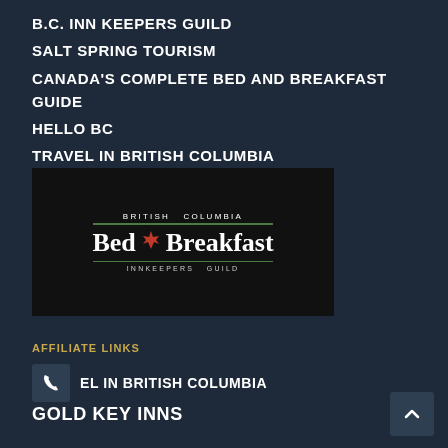B.C. INN KEEPERS GUILD
SALT SPRING TOURISM
CANADA'S COMPLETE BED AND BREAKFAST GUIDE
HELLO BC
TRAVEL IN BRITISH COLUMBIA
[Figure (logo): British Columbia Bed & Breakfast Innkeepers Guild logo on black background. Text reads BRITISH COLUMBIA in small caps at top, a green horizontal line, then Bed & Breakfast in large serif font with a red maple leaf symbol, another green horizontal line, and INNKEEPERS GUILD in small spaced caps below.]
AFFILIATE LINKS
EL IN BRITISH COLUMBIA
GOLD KEY INNS